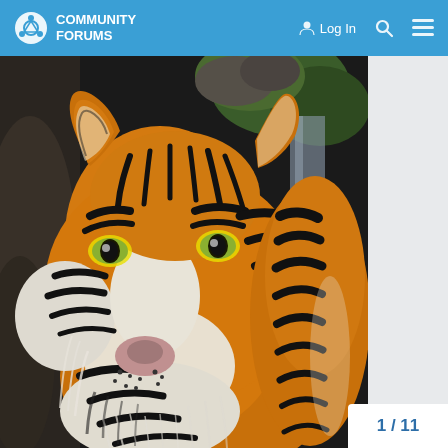Community Forums — Log In
[Figure (illustration): A detailed acrylic or oil painting of a tiger's face and upper body, depicted in close-up. The tiger faces slightly left, with orange fur, bold black stripes, white facial markings, and green eyes. Background shows dark rocks and green foliage with a waterfall or light-colored tree trunk on the right side.]
1 / 11